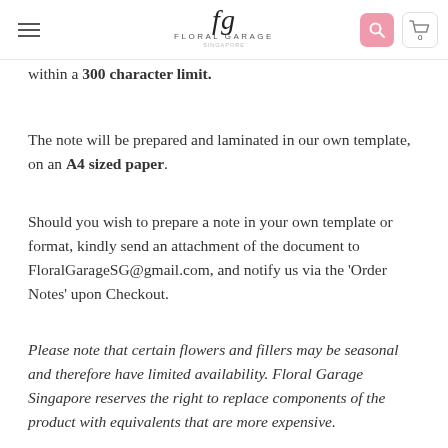fg FLORAL GARAGE
within a 300 character limit.
The note will be prepared and laminated in our own template, on an A4 sized paper.
Should you wish to prepare a note in your own template or format, kindly send an attachment of the document to FloralGarageSG@gmail.com, and notify us via the ‘Order Notes’ upon Checkout.
Please note that certain flowers and fillers may be seasonal and therefore have limited availability. Floral Garage Singapore reserves the right to replace components of the product with equivalents that are more expensive.
“The design and printing borders of the...